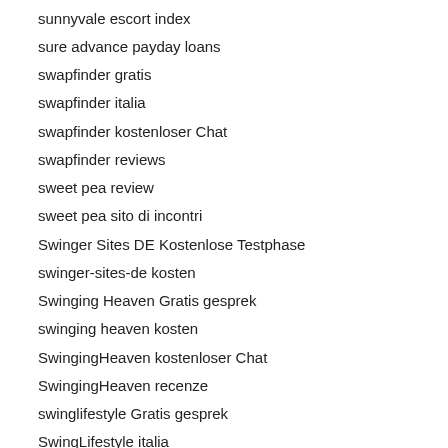sunnyvale escort index
sure advance payday loans
swapfinder gratis
swapfinder italia
swapfinder kostenloser Chat
swapfinder reviews
sweet pea review
sweet pea sito di incontri
Swinger Sites DE Kostenlose Testphase
swinger-sites-de kosten
Swinging Heaven Gratis gesprek
swinging heaven kosten
SwingingHeaven kostenloser Chat
SwingingHeaven recenze
swinglifestyle Gratis gesprek
SwingLifestyle italia
SwingLifestyle reviews
swingstown review